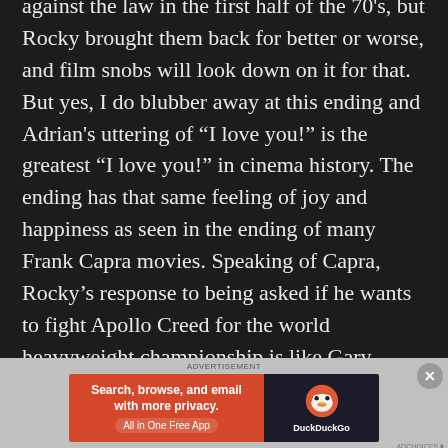against the law in the first half of the 70's, but Rocky brought them back for better or worse, and film snobs will look down on it for that. But yes, I do blubber away at this ending and Adrian's uttering of “I love you!” is the greatest “I love you!” in cinema history. The ending has that same feeling of joy and happiness as seen in the ending of many Frank Capra movies. Speaking of Capra, Rocky’s response to being asked if he wants to fight Apollo Creed for the world heavyweight championship is like Gary Cooper in Mr Deeds Goes to Town when he is told of the vast sum
[Figure (other): DuckDuckGo advertisement banner: orange left panel with text 'Search, browse, and email with more privacy. All in One Free App', dark right panel with DuckDuckGo duck logo and brand name.]